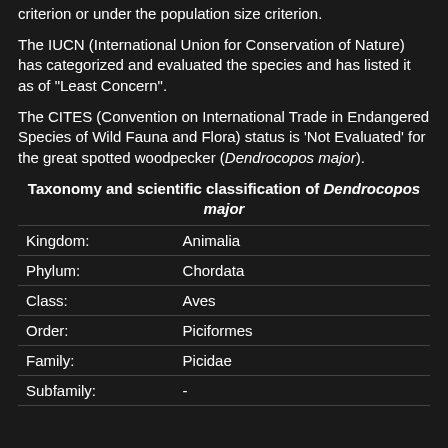criterion or under the population size criterion.
The IUCN (International Union for Conservation of Nature) has categorized and evaluated the species and has listed it as of "Least Concern".
The CITES (Convention on International Trade in Endangered Species of Wild Fauna and Flora) status is 'Not Evaluated' for the great spotted woodpecker (Dendrocopos major).
Taxonomy and scientific classification of Dendrocopos major
|  |  |
| --- | --- |
| Kingdom: | Animalia |
| Phylum: | Chordata |
| Class: | Aves |
| Order: | Piciformes |
| Family: | Picidae |
| Subfamily: | - |